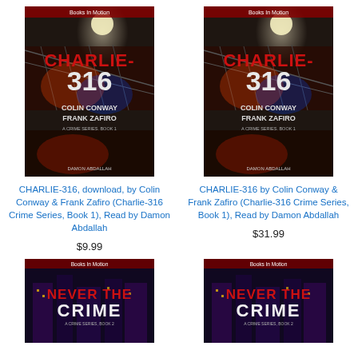[Figure (illustration): Book cover for CHARLIE-316 by Colin Conway & Frank Zafiro, narrated by Damon Abdallah. Dark nighttime cityscape with bridge, moon, red and blue lights. Title 'CHARLIE-316' and authors' names prominently displayed.]
CHARLIE-316, download, by Colin Conway & Frank Zafiro (Charlie-316 Crime Series, Book 1), Read by Damon Abdallah
$9.99
[Figure (illustration): Book cover for CHARLIE-316 by Colin Conway & Frank Zafiro, narrated by Damon Abdallah. Same cover art as the left item — dark nighttime cityscape with bridge and moon.]
CHARLIE-316 by Colin Conway & Frank Zafiro (Charlie-316 Crime Series, Book 1), Read by Damon Abdallah
$31.99
[Figure (illustration): Book cover for NEVER THE CRIME, Charlie-316 Crime Series Book 2. Dark moody cover with red and white stylized title text.]
[Figure (illustration): Book cover for NEVER THE CRIME, Charlie-316 Crime Series Book 2. Same cover art as the left item.]